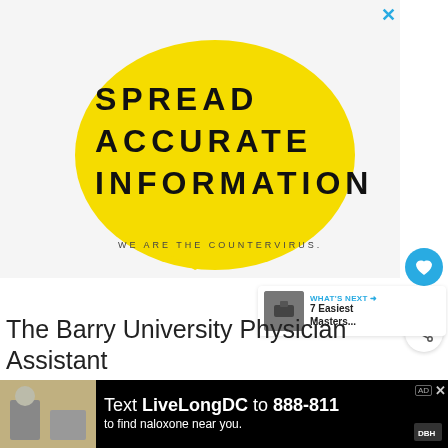[Figure (illustration): Yellow speech bubble graphic with bold black text 'SPREAD ACCURATE INFORMATION' and small text below reading 'WE ARE THE COUNTERVIRUS.']
5
[Figure (photo): What's Next panel showing a thumbnail photo with text 'WHAT'S NEXT → 7 Easiest Masters...']
The Barry University Physician Assistant
[Figure (infographic): Advertisement banner: 'Text LiveLongDC to 888-811 to find naloxone near you.' with a photo on the left side. Ad and X close icons on the top right.]